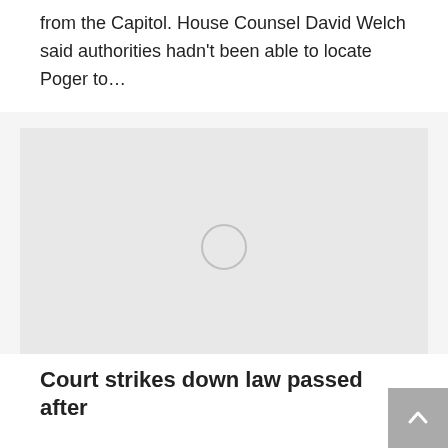from the Capitol. House Counsel David Welch said authorities hadn't been able to locate Poger to…
[Figure (photo): Image placeholder with a loading spinner circle in the center, light gray background]
Court strikes down law passed after